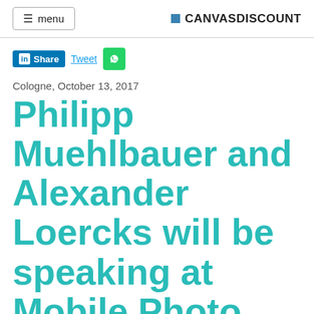≡ menu   ■ CANVASDISCOUNT
[Figure (screenshot): Social sharing buttons: LinkedIn Share, Tweet, WhatsApp]
Cologne, October 13, 2017
Philipp Muehlbauer and Alexander Loercks will be speaking at Mobile Photo